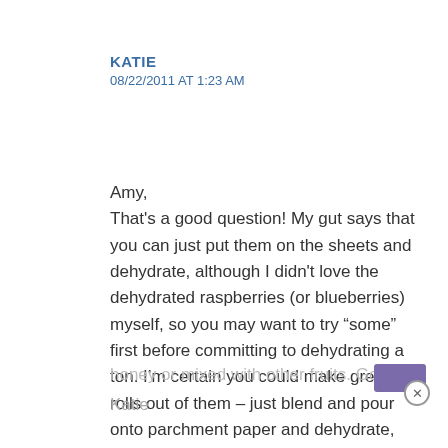KATIE
08/22/2011 AT 1:23 AM
Amy,
That's a good question! My gut says that you can just put them on the sheets and dehydrate, although I didn't love the dehydrated raspberries (or blueberries) myself, so you may want to try “some” first before committing to dehydrating a ton. I’m certain you could make great fruit rolls out of them – just blend and pour onto parchment paper and dehydrate, maybe with a little honey or mixed with other fruits. Good luck!
Katie